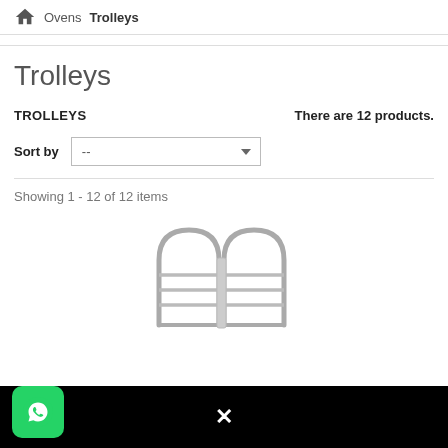Home / Ovens / Trolleys
Trolleys
TROLLEYS
There are 12 products.
Sort by  --
Showing 1 - 12 of 12 items
[Figure (photo): Product image of a metal trolley/rack with two arched side frames and horizontal shelves, made of stainless steel or chromed metal.]